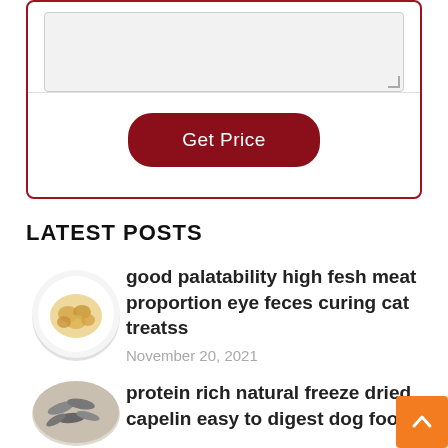[Figure (screenshot): A grey textarea form input field with resize handle]
Get Price
LATEST POSTS
[Figure (photo): A white plate with cat food / chunks in broth]
good palatability high fesh meat proportion eye feces curing cat treatss
November 20, 2021
[Figure (photo): A bowl with freeze dried fish/capelin dog food]
protein rich natural freeze dried capelin easy to digest dog food